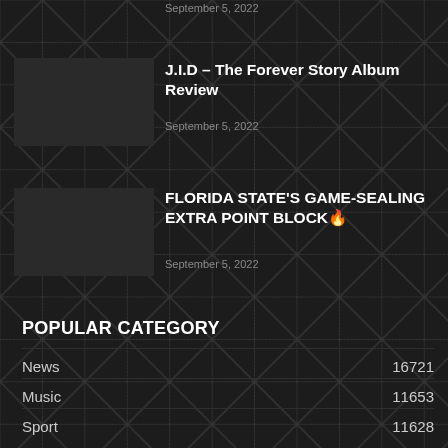September 5, 2022
J.I.D – The Forever Story Album Review
September 5, 2022
FLORIDA STATE'S GAME-SEALING EXTRA POINT BLOCK🔥
September 5, 2022
POPULAR CATEGORY
News  16721
Music  11653
Sport  11628